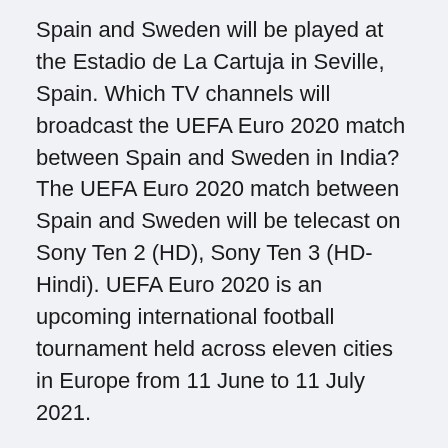Spain and Sweden will be played at the Estadio de La Cartuja in Seville, Spain. Which TV channels will broadcast the UEFA Euro 2020 match between Spain and Sweden in India? The UEFA Euro 2020 match between Spain and Sweden will be telecast on Sony Ten 2 (HD), Sony Ten 3 (HD-Hindi). UEFA Euro 2020 is an upcoming international football tournament held across eleven cities in Europe from 11 June to 11 July 2021.
Now, as a first-time Euro qualifier, it is ready to believe.
GEO. Georgia. 2021/03/25 European Qualifiers. 25/03/2021. June 23, 5 pm, Sweden v Poland: Key Facts. According to Euro 2020 predictions, the match between Sweden and Poland will surely be the turning